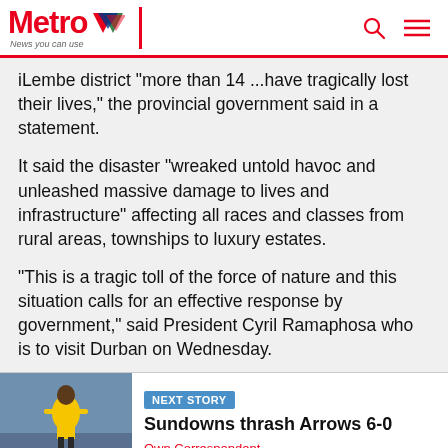Metro — News you can use
iLembe district "more than 14 ...have tragically lost their lives," the provincial government said in a statement.
It said the disaster "wreaked untold havoc and unleashed massive damage to lives and infrastructure" affecting all races and classes from rural areas, townships to luxury estates.
"This is a tragic toll of the force of nature and this situation calls for an effective response by government," said President Cyril Ramaphosa who is to visit Durban on Wednesday.
NEXT STORY
Sundowns thrash Arrows 6-0
Own Correspondent